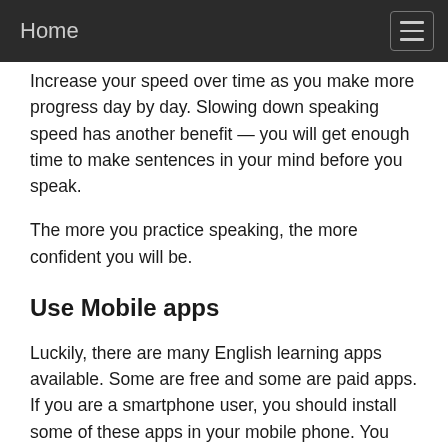Home
Increase your speed over time as you make more progress day by day. Slowing down speaking speed has another benefit — you will get enough time to make sentences in your mind before you speak.
The more you practice speaking, the more confident you will be.
Use Mobile apps
Luckily, there are many English learning apps available. Some are free and some are paid apps. If you are a smartphone user, you should install some of these apps in your mobile phone. You can at least install one app and start practicing. A mobile app is a very handy and useful thing to learn at your convenient time. You can start with free apps.